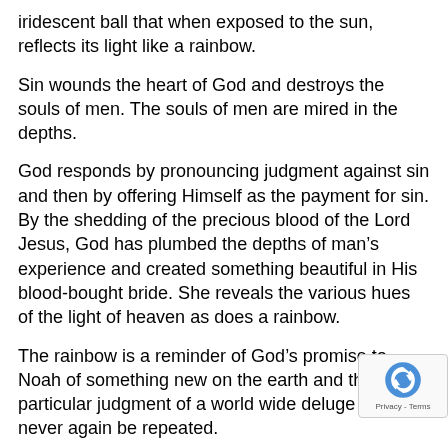iridescent ball that when exposed to the sun, reflects its light like a rainbow.
Sin wounds the heart of God and destroys the souls of men. The souls of men are mired in the depths.
God responds by pronouncing judgment against sin and then by offering Himself as the payment for sin. By the shedding of the precious blood of the Lord Jesus, God has plumbed the depths of man’s experience and created something beautiful in His blood-bought bride. She reveals the various hues of the light of heaven as does a rainbow.
The rainbow is a reminder of God’s promise to Noah of something new on the earth and that particular judgment of a world wide deluge will never again be repeated.
In the same way, the cross of Christ is a one-time, ne be repeated form of judgment against sin. It is God’ promise to mankind that sin is judged in the person of